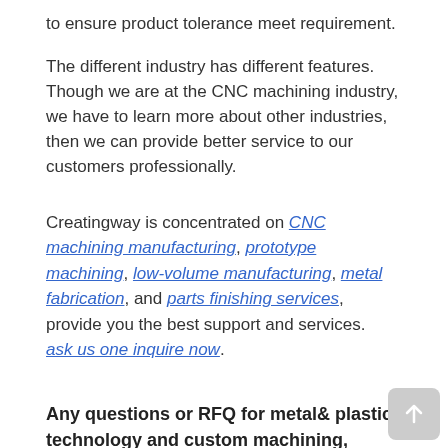to ensure product tolerance meet requirement.
The different industry has different features. Though we are at the CNC machining industry, we have to learn more about other industries, then we can provide better service to our customers professionally.
Creatingway is concentrated on CNC machining manufacturing, prototype machining, low-volume manufacturing, metal fabrication, and parts finishing services, provide you the best support and services. ask us one inquire now.
Any questions or RFQ for metal& plastic technology and custom machining, welcome to